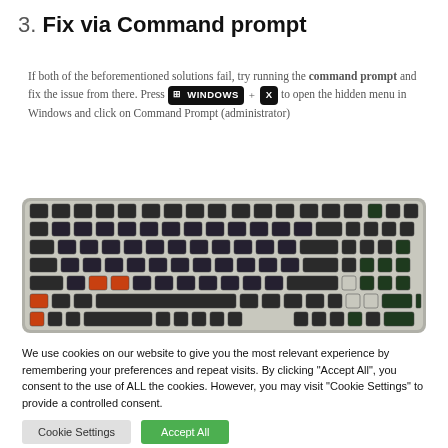3. Fix via Command prompt
If both of the beforementioned solutions fail, try running the command prompt and fix the issue from there. Press ⊞ WINDOWS + X to open the hidden menu in Windows and click on Command Prompt (administrator)
[Figure (photo): Mechanical keyboard with colorful backlit keys on a light gray/silver frame, photographed at a slight angle. Some keys (bottom-left area) appear orange/red, most keys are dark with purple/blue backlighting.]
We use cookies on our website to give you the most relevant experience by remembering your preferences and repeat visits. By clicking "Accept All", you consent to the use of ALL the cookies. However, you may visit "Cookie Settings" to provide a controlled consent.
Cookie Settings    Accept All